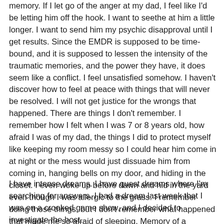memory. If I let go of the anger at my dad, I feel like I'd be letting him off the hook. I want to seethe at him a little longer. I want to send him my psychic disapproval until I get results. Since the EMDR is supposed to be time-bound, and it is supposed to lessen the intensity of the traumatic memories, and the power they have, it does seem like a conflict. I feel unsatisfied somehow. I haven't discover how to feel at peace with things that will never be resolved. I will not get justice for the wrongs that happened. There are things I don't remember. I remember how I felt when I was 7 or 8 years old, how afraid I was of my dad, the things I did to protect myself like keeping my room messy so I could hear him come in at night or the mess would just dissuade him from coming in, hanging bells on my door, and hiding in the closet. I even woke up before dawn and hid in the yard even though I was allergic to the grass. I remember doing those things, but I don't remember what happened that made me so afraid of sleeping. Memory of a memory.
I have intense dreams. I have quest dreams where I'm searching for answers. I had a dream last week that I was on a crooked game show, and I decided to investigate the host.